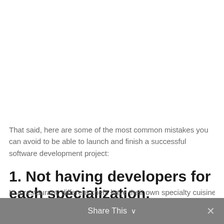That said, here are some of the most common mistakes you can avoid to be able to launch and finish a successful software development project:
1. Not having developers for each specialization.
In a restaurant, different chefs have their own specialty cuisine
Share This ∨  ✕